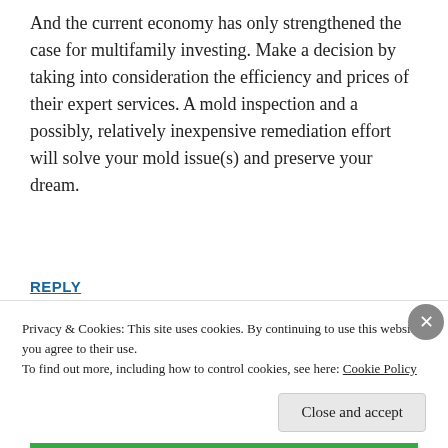And the current economy has only strengthened the case for multifamily investing. Make a decision by taking into consideration the efficiency and prices of their expert services. A mold inspection and a possibly, relatively inexpensive remediation effort will solve your mold issue(s) and preserve your dream.
REPLY
WHAT IS GOOD ABOUT DUI ATTORNEY
Privacy & Cookies: This site uses cookies. By continuing to use this website, you agree to their use.
To find out more, including how to control cookies, see here: Cookie Policy
Close and accept